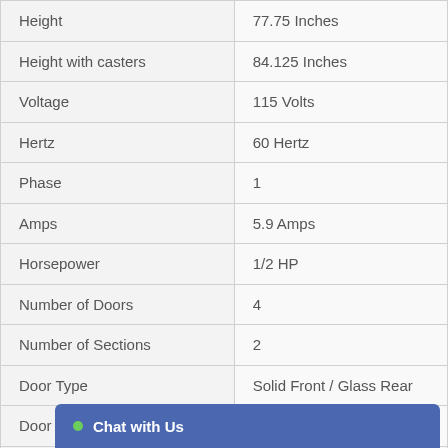| Attribute | Value |
| --- | --- |
| Height | 77.75 Inches |
| Height with casters | 84.125 Inches |
| Voltage | 115 Volts |
| Hertz | 60 Hertz |
| Phase | 1 |
| Amps | 5.9 Amps |
| Horsepower | 1/2 HP |
| Number of Doors | 4 |
| Number of Sections | 2 |
| Door Type | Solid Front / Glass Rear |
| Door Style | Swing Door |
| Exterior |  |